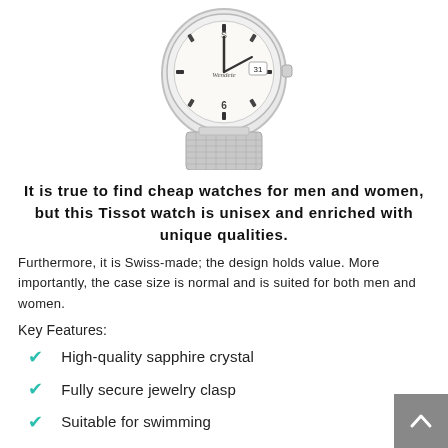[Figure (photo): A Tissot watch with a white/cream dial, silver case, and a silver mesh bracelet, photographed from a slightly elevated angle against a white background.]
It is true to find cheap watches for men and women, but this Tissot watch is unisex and enriched with unique qualities.
Furthermore, it is Swiss-made; the design holds value. More importantly, the case size is normal and is suited for both men and women.
Key Features:
High-quality sapphire crystal
Fully secure jewelry clasp
Suitable for swimming